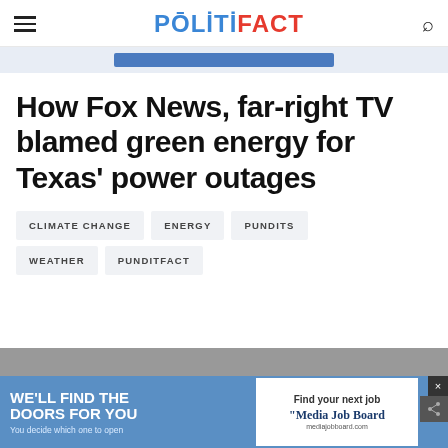POLITIFACT
How Fox News, far-right TV blamed green energy for Texas' power outages
CLIMATE CHANGE
ENERGY
PUNDITS
WEATHER
PUNDITFACT
[Figure (photo): Bottom advertisement banner: 'WE'LL FIND THE DOORS FOR YOU - You decide which one to open' with Media Job Board logo]
[Figure (photo): Partial photo strip visible below main content area, partially obscured by advertisement overlay]